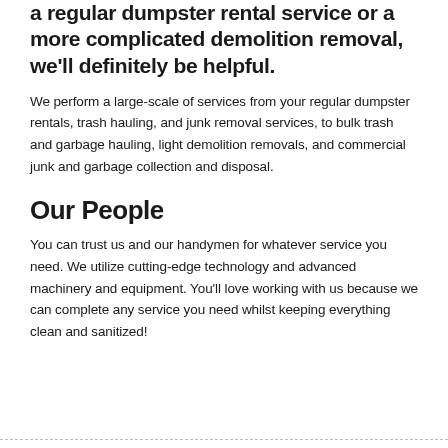a regular dumpster rental service or a more complicated demolition removal, we'll definitely be helpful.
We perform a large-scale of services from your regular dumpster rentals, trash hauling, and junk removal services, to bulk trash and garbage hauling, light demolition removals, and commercial junk and garbage collection and disposal.
Our People
You can trust us and our handymen for whatever service you need. We utilize cutting-edge technology and advanced machinery and equipment. You'll love working with us because we can complete any service you need whilst keeping everything clean and sanitized!